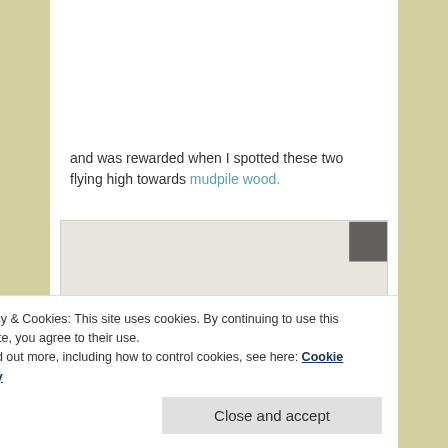and was rewarded when I spotted these two flying high towards mudpile wood.
[Figure (illustration): Pencil sketch illustration of two figures flying: a witch on a broomstick on the left and a round creature or character on the right, drawn in pencil on white paper.]
Privacy & Cookies: This site uses cookies. By continuing to use this website, you agree to their use.
To find out more, including how to control cookies, see here: Cookie Policy
Close and accept